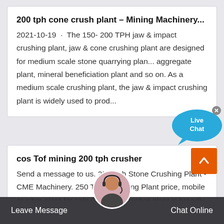200 tph cone crush plant – Mining Machinery...
2021-10-19 · The 150- 200 TPH jaw & impact crushing plant, jaw & cone crushing plant are designed for medium scale stone quarrying plan... aggregate plant, mineral beneficiation plant and so on. As a medium scale crushing plant, the jaw & impact crushing plant is widely used to prod...
[Figure (illustration): Live Chat chat bubble icon in blue with 'Live Chat' text and an X close button]
cos Tof mining 200 tph crusher
Send a message to us. 250 Tph Stone Crushing Plant - CME Machinery. 250 TPH Crushing Plant price, mobile crusher plant for sale Quarry... Crusher plant is broadly applied in a lot of industries like mining, energy, building 200-250TPH granite crushing plant includes vibrating
[Figure (illustration): Back to top arrow button in orange square]
[Figure (photo): Customer service agent portrait photo in circular frame]
Leave Message    Chat Online